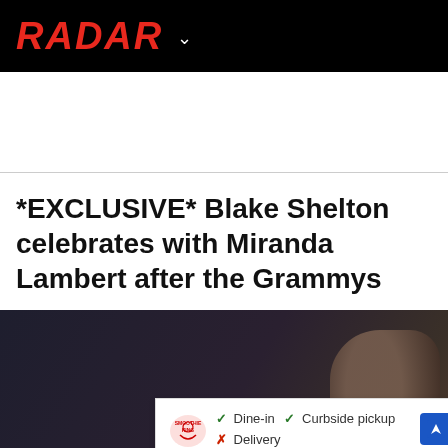RADAR
*EXCLUSIVE* Blake Shelton celebrates with Miranda Lambert after the Grammys
[Figure (photo): Dark cinematic scene with figures partially visible; an advertisement overlay shows Smoothie King logo with Dine-in checkmark, Curbside pickup checkmark, Delivery X mark, and a blue navigation arrow button.]